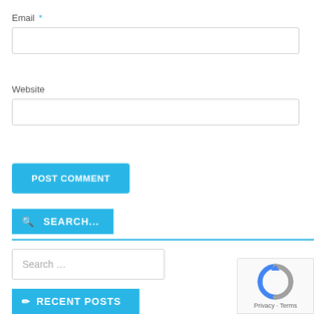Email *
[Figure (screenshot): Empty email input text field with border]
Website
[Figure (screenshot): Empty website input text field with border]
POST COMMENT
SEARCH...
[Figure (screenshot): Search input box with placeholder text 'Search ...']
RECENT POSTS
[Figure (other): reCAPTCHA badge with Privacy and Terms links]